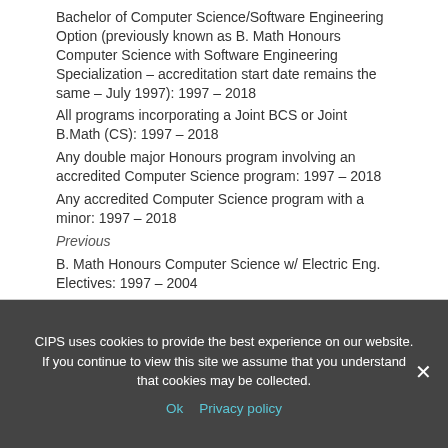Bachelor of Computer Science/Software Engineering Option (previously known as B. Math Honours Computer Science with Software Engineering Specialization – accreditation start date remains the same – July 1997): 1997 – 2018
All programs incorporating a Joint BCS or Joint B.Math (CS): 1997 – 2018
Any double major Honours program involving an accredited Computer Science program: 1997 – 2018
Any accredited Computer Science program with a minor: 1997 – 2018
Previous
B. Math Honours Computer Science w/ Electric Eng. Electives: 1997 – 2004
B. Math Honours Computer Science/Information SystemsOption: 1997 – 2012
CIPS uses cookies to provide the best experience on our website. If you continue to view this site we assume that you understand that cookies may be collected.
Ok   Privacy policy